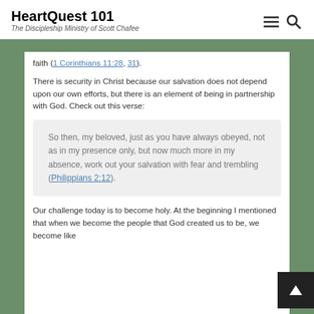HeartQuest 101 — The Discipleship Ministry of Scott Chafee
faith (1 Corinthians 11:28, 31).
There is security in Christ because our salvation does not depend upon our own efforts, but there is an element of being in partnership with God. Check out this verse:
So then, my beloved, just as you have always obeyed, not as in my presence only, but now much more in my absence, work out your salvation with fear and trembling (Philippians 2:12).
Our challenge today is to become holy. At the beginning I mentioned that when we become the people that God created us to be, we become like